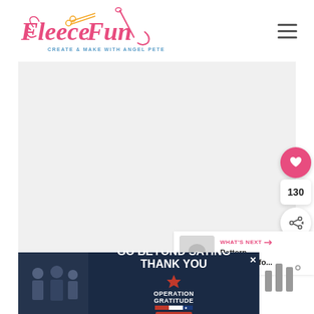[Figure (logo): Fleece Fun logo - pink cursive script with needle and scissors decoration, subtitle 'Create & Make with Angel Peterson']
[Figure (other): Hamburger menu icon (three horizontal lines) in top right corner]
[Figure (other): Main content image area - large light gray placeholder rectangle]
[Figure (other): Pink heart/favorite button (circle) with count 130 below and share button below that]
[Figure (other): What's Next panel: thumbnail image with text 'WHAT'S NEXT →' in pink and 'Pattern Assembly fo...' in black]
[Figure (other): Advertisement banner: 'GO BEYOND SAYING THANK YOU' Operation Gratitude - JOIN US, with photo of people on left]